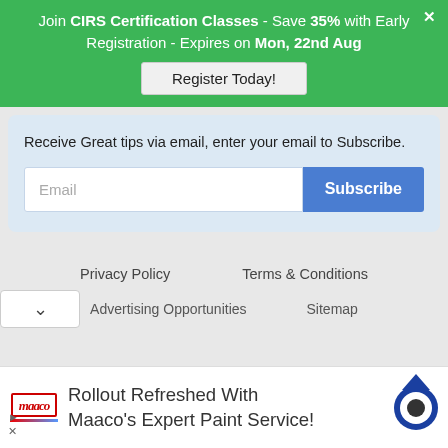Join CIRS Certification Classes - Save 35% with Early Registration - Expires on Mon, 22nd Aug
Register Today!
Receive Great tips via email, enter your email to Subscribe.
Email
Subscribe
Privacy Policy
Terms & Conditions
Advertising Opportunities
Sitemap
Rollout Refreshed With Maaco's Expert Paint Service!